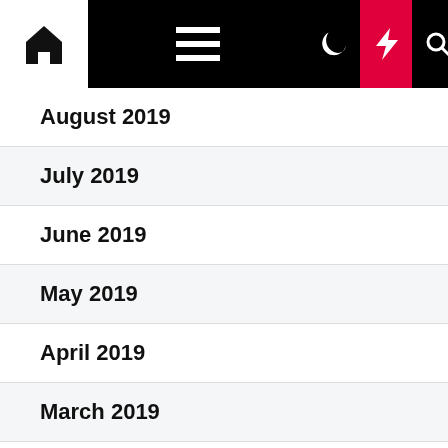[Figure (screenshot): Website navigation bar with home icon, hamburger menu, moon icon, lightning bolt icon on red background, and search icon on black background]
August 2019
July 2019
June 2019
May 2019
April 2019
March 2019
February 2019
January 2019
December 2018